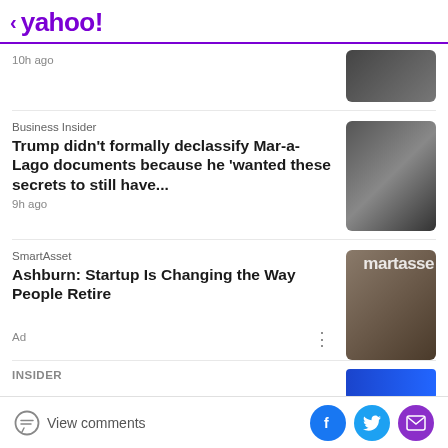< yahoo!
10h ago
Business Insider
Trump didn't formally declassify Mar-a-Lago documents because he 'wanted these secrets to still have...
9h ago
SmartAsset
Ashburn: Startup Is Changing the Way People Retire
Ad
INSIDER
View comments